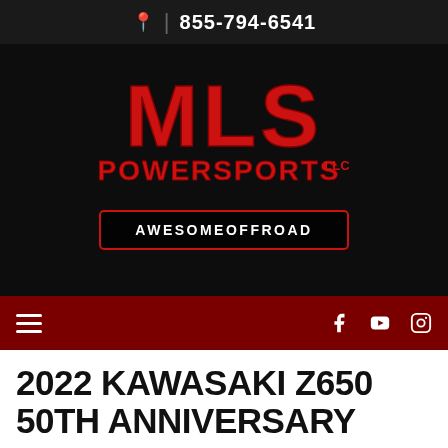📍 | 855-794-6541
[Figure (logo): MLS POWERSPORTS LLC logo in red on black background, with AWESOMEOFFROAD button below]
Navigation bar with hamburger menu and social icons (Facebook, YouTube, Instagram)
2022 KAWASAKI Z650 50TH ANNIVERSARY
New Motorcycles • Naked
SEE PRICE